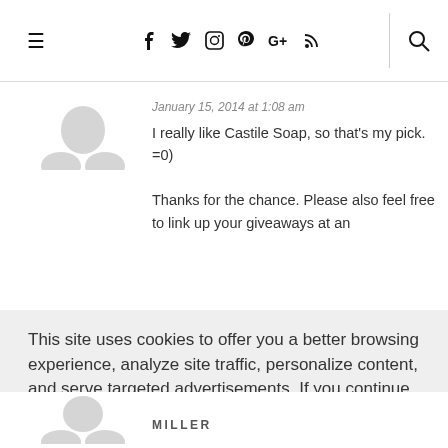≡  f  🐦  📷  𝗣  G+  ⊃  🔍
January 15, 2014 at 1:08 am
I really like Castile Soap, so that's my pick. =0)
Thanks for the chance. Please also feel free to link up your giveaways at an
This site uses cookies to offer you a better browsing experience, analyze site traffic, personalize content, and serve targeted advertisements. If you continue to use this site, you consent to our use of cookies.
Learn more
I AGREE
MILLER